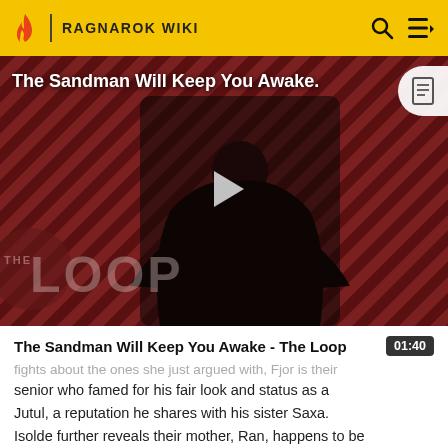RAGNAROK WIKI
[Figure (screenshot): Video thumbnail for 'The Sandman Will Keep You Awake - The Loop' showing a dark-cloaked figure against a red diagonal striped background, with 'THE LOOP' watermark and a play button in the center.]
The Sandman Will Keep You Awake - The Loop
fights about the ones she just argued with, Fjor is their senior who famed for his fair look and status as a Jutul, a reputation he shares with his sister Saxa. Isolde further reveals their mother, Ran, happens to be